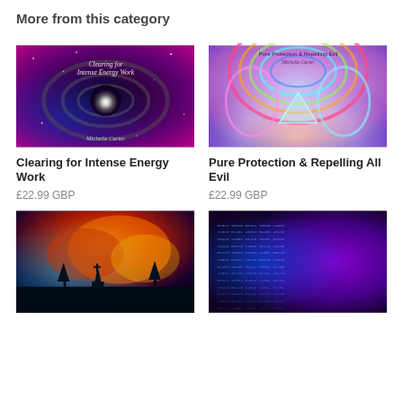More from this category
[Figure (photo): Album cover: space/galaxy background with swirling vortex and bright white center. Text reads 'Clearing for Intense Energy Work' and 'Michelle Carter' in white script.]
[Figure (photo): Album cover: colorful neon abstract symmetrical design with rainbow arcs and triangle shape on pink/blue background. Text reads 'Pure Protection & Repelling Evil Michelle Carter'.]
Clearing for Intense Energy Work
£22.99 GBP
Pure Protection & Repelling All Evil
£22.99 GBP
[Figure (photo): Image showing a dark graveyard/church silhouette against dramatic orange-red fire and cosmic clouds sky.]
[Figure (photo): Image showing digital matrix-style blue text/code overlaid on a purple abstract background.]